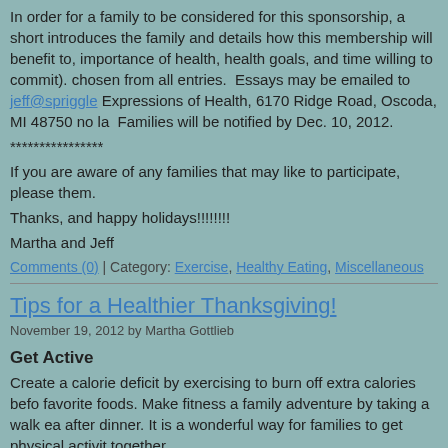In order for a family to be considered for this sponsorship, a short essay that introduces the family and details how this membership will benefit to, importance of health, health goals, and time willing to commit). chosen from all entries. Essays may be emailed to jeff@spriggle Expressions of Health, 6170 Ridge Road, Oscoda, MI 48750 no la Families will be notified by Dec. 10, 2012.
****************
If you are aware of any families that may like to participate, please them.
Thanks, and happy holidays!!!!!!!!
Martha and Jeff
Comments (0) | Category: Exercise, Healthy Eating, Miscellaneous
Tips for a Healthier Thanksgiving!
November 19, 2012 by Martha Gottlieb
Get Active
Create a calorie deficit by exercising to burn off extra calories befo favorite foods. Make fitness a family adventure by taking a walk ea after dinner. It is a wonderful way for families to get physical activit together.